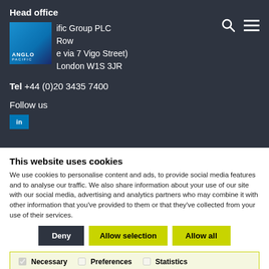Head office
[Figure (logo): Anglo Pacific Group PLC logo — blue gradient square with 'ANGLO' text and 'PACIFIC' below]
Anglo Pacific Group PLC
Row
(e via 7 Vigo Street)
London W1S 3JR
Tel +44 (0)20 3435 7400
Follow us
This website uses cookies
We use cookies to personalise content and ads, to provide social media features and to analyse our traffic. We also share information about your use of our site with our social media, advertising and analytics partners who may combine it with other information that you've provided to them or that they've collected from your use of their services.
Deny | Allow selection | Allow all
Necessary  Preferences  Statistics  Show details  Marketing